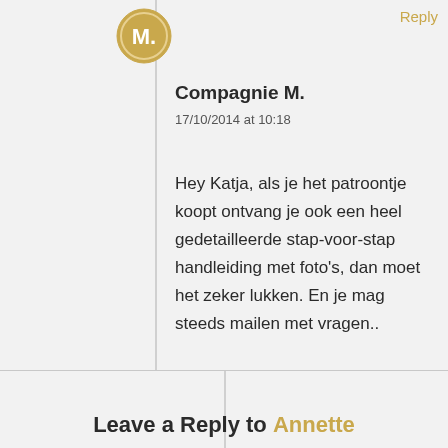[Figure (illustration): Circular gold avatar icon with letter M]
Reply
Compagnie M.
17/10/2014 at 10:18
Hey Katja, als je het patroontje koopt ontvang je ook een heel gedetailleerde stap-voor-stap handleiding met foto's, dan moet het zeker lukken. En je mag steeds mailen met vragen..
Leave a Reply to Annette